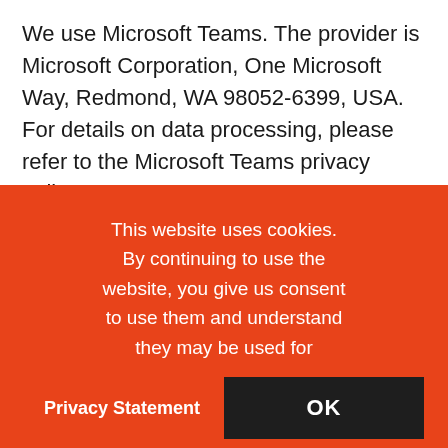We use Microsoft Teams. The provider is Microsoft Corporation, One Microsoft Way, Redmond, WA 98052-6399, USA. For details on data processing, please refer to the Microsoft Teams privacy policy:
https://privacy.microsoft.com/
This website uses cookies. By continuing to use the website, you give us consent to use them and understand they may be used for providing an optimal experience.
Privacy Statement
OK